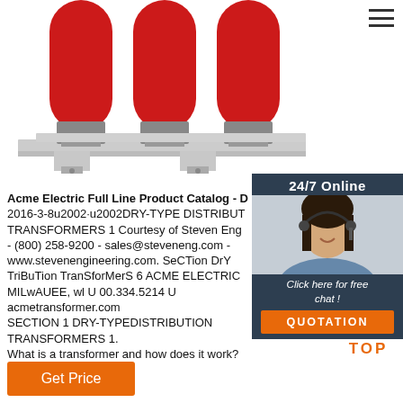[Figure (photo): Three red cylindrical coils of a dry-type distribution transformer mounted on a metal base with grey connector brackets]
[Figure (photo): Customer service agent (woman with headset) in 24/7 Online chat panel with dark blue background, Click here for free chat! text, and QUOTATION orange button]
Acme Electric Full Line Product Catalog - D 2016-3-8u2002·u2002DRY-TYPE DISTRIBUTION TRANSFORMERS 1 Courtesy of Steven Engineering - (800) 258-9200 - sales@steveneng.com - www.stevenengineering.com. SeCTion DrY TriBuTion TranSforMerS 6 ACME ELECTRIC C MILwAUEE, wl U 00.334.5214 U acmetransformer.com SECTION 1 DRY-TYPEDISTRIBUTION TRANSFORMERS 1. What is a transformer and how does it work?
[Figure (other): TOP scroll-to-top button with orange dots above orange TOP text]
[Figure (other): Get Price orange button]